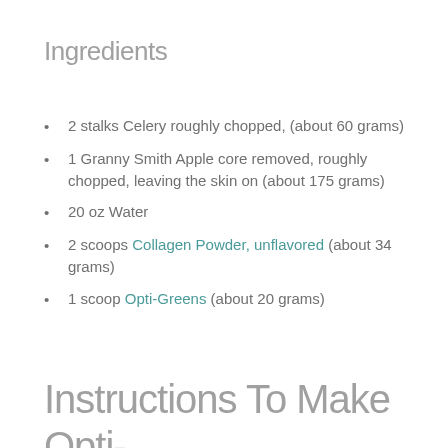Ingredients
2 stalks Celery roughly chopped, (about 60 grams)
1 Granny Smith Apple core removed, roughly chopped, leaving the skin on (about 175 grams)
20 oz Water
2 scoops Collagen Powder, unflavored (about 34 grams)
1 scoop Opti-Greens (about 20 grams)
Instructions To Make Opti-Greens Apple Juice: